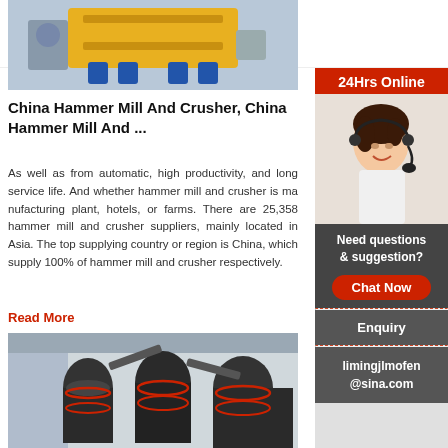CRUSHER Mining Equipment
[Figure (photo): Photo of yellow industrial crusher/hammer mill equipment on blue stands in a factory setting]
China Hammer Mill And Crusher, China Hammer Mill And ...
As well as from automatic, high productivity, and long service life. And whether hammer mill and crusher is manufacturing plant, hotels, or farms. There are 25,358 hammer mill and crusher suppliers, mainly located in Asia. The top supplying country or region is China, which supply 100% of hammer mill and crusher respectively.
Read More
[Figure (photo): Photo of large dark industrial grinding mills/crushers in a factory setting with red accents]
[Figure (photo): Sidebar: Customer service representative woman with headset smiling, 24Hrs Online badge]
Need questions & suggestion?
Chat Now
Enquiry
limingjlmofen@sina.com